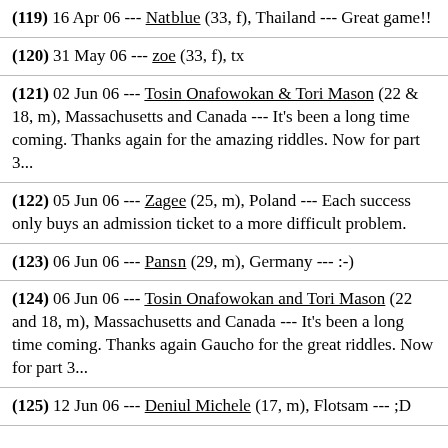(119) 16 Apr 06 --- Nat_blue (33, f), Thailand --- Great game!!
(120) 31 May 06 --- zoe (33, f), tx
(121) 02 Jun 06 --- Tosin Onafowokan & Tori Mason (22 & 18, m), Massachusetts and Canada --- It's been a long time coming. Thanks again for the amazing riddles. Now for part 3...
(122) 05 Jun 06 --- Zagee (25, m), Poland --- Each success only buys an admission ticket to a more difficult problem.
(123) 06 Jun 06 --- Pans_n (29, m), Germany --- :-)
(124) 06 Jun 06 --- Tosin Onafowokan and Tori Mason (22 and 18, m), Massachusetts and Canada --- It's been a long time coming. Thanks again Gaucho for the great riddles. Now for part 3...
(125) 12 Jun 06 --- Deniul Michele (17, m), Flotsam --- ;D